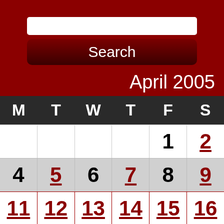[Figure (screenshot): Search button UI element with white input box above and dark red Search button below]
April 2005
| M | T | W | T | F | S |
| --- | --- | --- | --- | --- | --- |
|  |  |  |  | 1 | 2 |
| 4 | 5 | 6 | 7 | 8 | 9 |
| 11 | 12 | 13 | 14 | 15 | 16 |